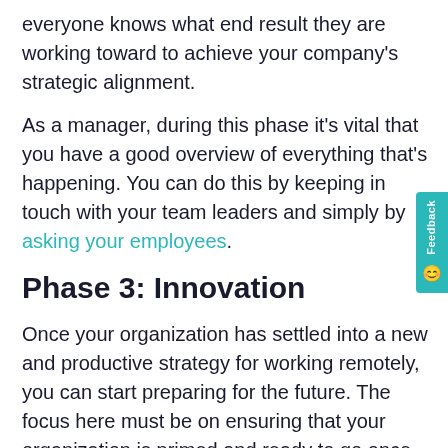everyone knows what end result they are working toward to achieve your company's strategic alignment.
As a manager, during this phase it's vital that you have a good overview of everything that's happening. You can do this by keeping in touch with your team leaders and simply by asking your employees.
Phase 3: Innovation
Once your organization has settled into a new and productive strategy for working remotely, you can start preparing for the future. The focus here must be on ensuring that your organization is primed and ready to go once the starting pistol fires and the economy starts to get back on track. How can your organization play its part in building tomorrow's world? What will this world look like? What do your customers need?